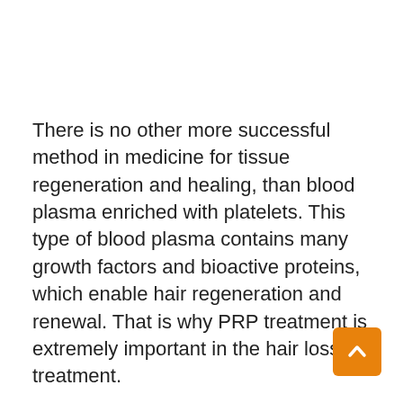There is no other more successful method in medicine for tissue regeneration and healing, than blood plasma enriched with platelets. This type of blood plasma contains many growth factors and bioactive proteins, which enable hair regeneration and renewal. That is why PRP treatment is extremely important in the hair loss treatment.
After numerous studies on the effectiveness of the blood plasma method in stimulating hair follicles, it has been proven that this is one of the few treatments that have shown success in restoring lost hair. It is especially successful in people who have genetically conditioned androgenic alop… autoimmune alopecia areata or scarring (cicatricial) alopecia. In these cases, hair loss and thinning also